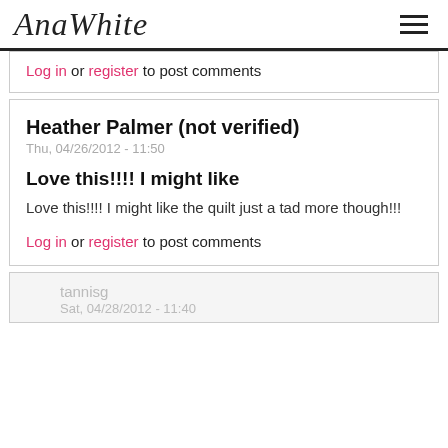AnaWhite
Log in or register to post comments
Heather Palmer (not verified)
Thu, 04/26/2012 - 11:50

Love this!!!! I might like

Love this!!!! I might like the quilt just a tad more though!!!

Log in or register to post comments
tannisg
Sat, 04/28/2012 - 11:40